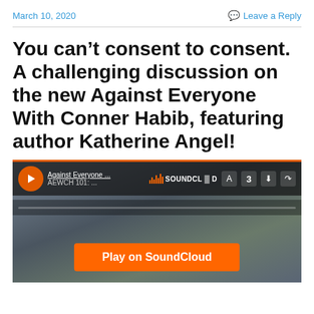March 10, 2020   Leave a Reply
You can’t consent to consent. A challenging discussion on the new Against Everyone With Conner Habib, featuring author Katherine Angel!
[Figure (screenshot): SoundCloud embedded player screenshot with orange play button, track title 'Against Everyone...' and episode 'AEWCH 101:...', SoundCloud branding, and 'Play on SoundCloud' orange button at bottom. Background shows blurred photo.]